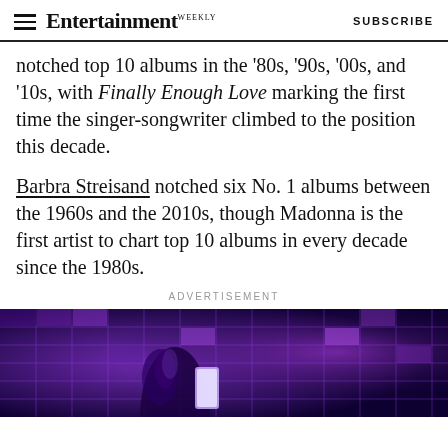Entertainment Weekly | SUBSCRIBE
notched top 10 albums in the '80s, '90s, '00s, and '10s, with Finally Enough Love marking the first time the singer-songwriter climbed to the position this decade.
Barbra Streisand notched six No. 1 albums between the 1960s and the 2010s, though Madonna is the first artist to chart top 10 albums in every decade since the 1980s.
ADVERTISEMENT
[Figure (photo): Concert photo showing a performer's hand with lace glove raised, holding a phone displaying a lit stage with purple neon grid lighting in the background]